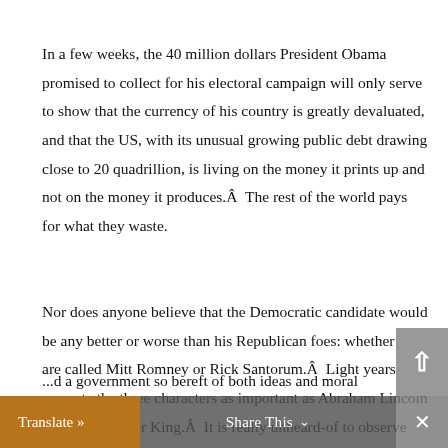In a few weeks, the 40 million dollars President Obama promised to collect for his electoral campaign will only serve to show that the currency of his country is greatly devaluated, and that the US, with its unusual growing public debt drawing close to 20 quadrillion, is living on the money it prints up and not on the money it produces.Â  The rest of the world pays for what they waste.
Nor does anyone believe that the Democratic candidate would be any better or worse than his Republican foes: whether they are called Mitt Romney or Rick Santorum.Â  Light years separate the three characters as important as Abraham Lincoln or Martin Luther King.Â  It is really unheard-of to observe such a technologically ...d a government so bereft of both ideas and moral
Translate »   Share This   ×